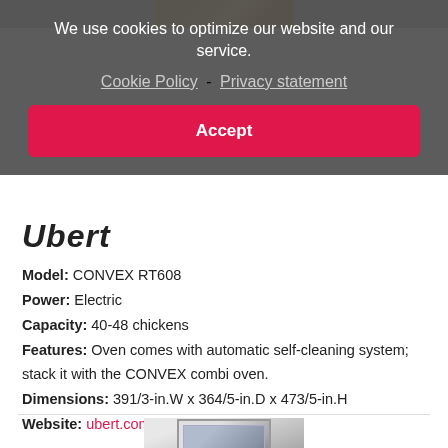[Figure (photo): Top strip showing a photo of rotisserie chickens in a rotary oven]
We use cookies to optimize our website and our service. Cookie Policy - Privacy statement
Accept
Ubert
Model: CONVEX RT608
Power: Electric
Capacity: 40-48 chickens
Features: Oven comes with automatic self-cleaning system; stack it with the CONVEX combi oven.
Dimensions: 391/3-in.W x 364/5-in.D x 473/5-in.H
Website: ubert.com
[Figure (photo): Bottom photo of a commercial combi oven unit]